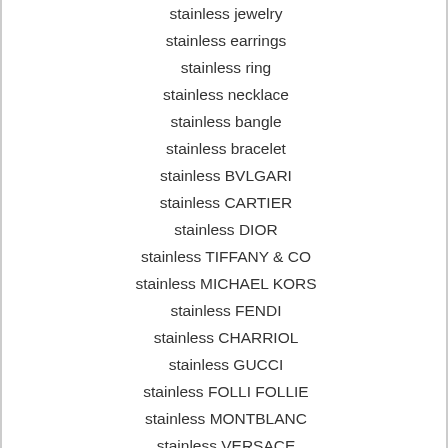stainless jewelry
stainless earrings
stainless ring
stainless necklace
stainless bangle
stainless bracelet
stainless BVLGARI
stainless CARTIER
stainless DIOR
stainless TIFFANY & CO
stainless MICHAEL KORS
stainless FENDI
stainless CHARRIOL
stainless GUCCI
stainless FOLLI FOLLIE
stainless MONTBLANC
stainless VERSACE
stainless HERMES
stainless LOUIS VUITTON